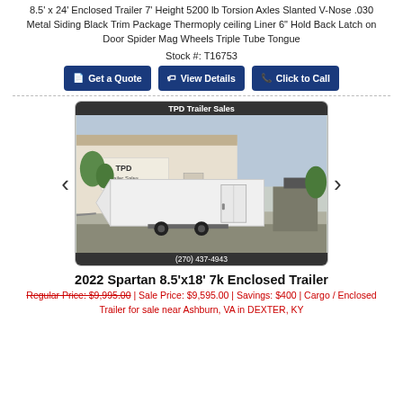8.5' x 24' Enclosed Trailer 7' Height 5200 lb Torsion Axles Slanted V-Nose .030 Metal Siding Black Trim Package Thermoply ceiling Liner 6" Hold Back Latch on Door Spider Mag Wheels Triple Tube Tongue
Stock #: T16753
Get a Quote | View Details | Click to Call
[Figure (photo): Photo of a white enclosed cargo trailer parked on a concrete pad in front of a building with a TPD Trailer Sales sign. Image shown inside a carousel with left and right navigation arrows. Header: TPD Trailer Sales. Footer: (270) 437-4943.]
2022 Spartan 8.5'x18' 7k Enclosed Trailer
Regular Price: $9,995.00 | Sale Price: $9,595.00 | Savings: $400 | Cargo / Enclosed Trailer for sale near Ashburn, VA in DEXTER, KY